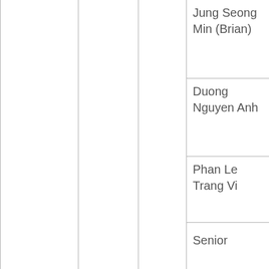|  |  |  | Jung Seong Min (Brian) |
|  |  |  | Duong Nguyen Anh |
|  |  |  | Phan Le Trang Vi |
|  |  | Senior | Nguyen Cao Quynh Anh (Sarah) |